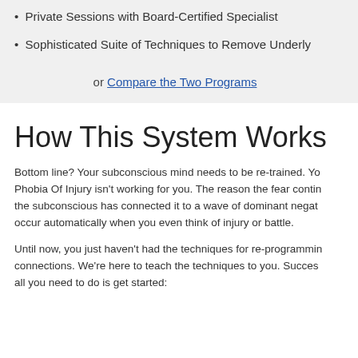Private Sessions with Board-Certified Specialist
Sophisticated Suite of Techniques to Remove Underly...
or Compare the Two Programs
How This System Works
Bottom line? Your subconscious mind needs to be re-trained. Yo... Phobia Of Injury isn't working for you. The reason the fear continu... the subconscious has connected it to a wave of dominant negati... occur automatically when you even think of injury or battle.
Until now, you just haven't had the techniques for re-programmin... connections. We're here to teach the techniques to you. Succes... all you need to do is get started: